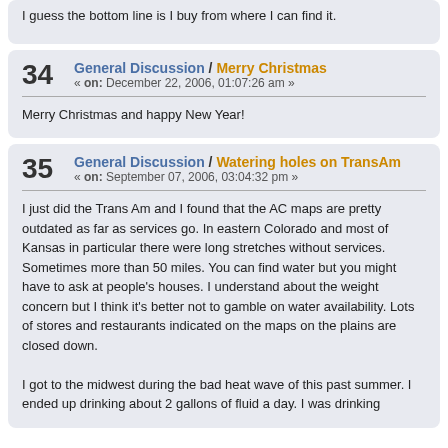I guess the bottom line is I buy from where I can find it.
34  General Discussion / Merry Christmas
« on: December 22, 2006, 01:07:26 am »
Merry Christmas and happy New Year!
35  General Discussion / Watering holes on TransAm
« on: September 07, 2006, 03:04:32 pm »
I just did the Trans Am and I found that the AC maps are pretty outdated as far as services go.  In eastern Colorado and most of Kansas in particular there were long stretches without services.  Sometimes more than 50 miles.  You can find water but you might have to ask at people's houses.  I understand about the weight concern but I think it's better not to gamble on water availability.  Lots of stores and restaurants indicated on the maps on the plains are closed down.

I got to the midwest during the bad heat wave of this past summer.  I ended up drinking about 2 gallons of fluid a day.  I was drinking